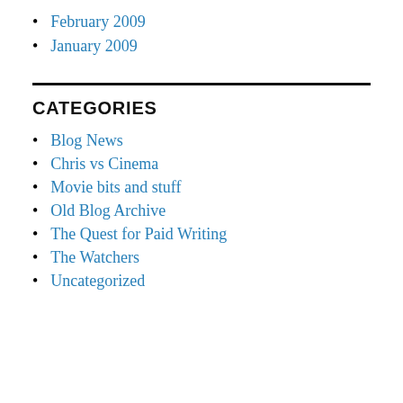February 2009
January 2009
CATEGORIES
Blog News
Chris vs Cinema
Movie bits and stuff
Old Blog Archive
The Quest for Paid Writing
The Watchers
Uncategorized